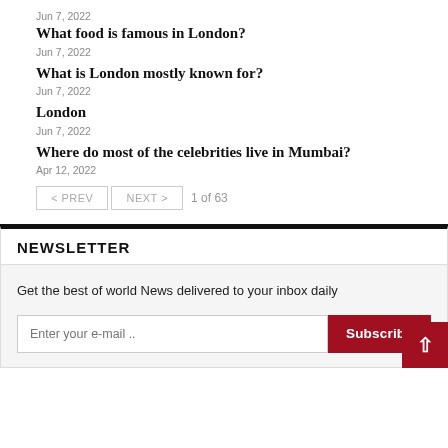Jun 7, 2022
What food is famous in London?
Jun 7, 2022
What is London mostly known for?
Jun 7, 2022
London
Jun 7, 2022
Where do most of the celebrities live in Mumbai?
Apr 12, 2022
< PREV   NEXT >   1 of 63
NEWSLETTER
Get the best of world News delivered to your inbox daily